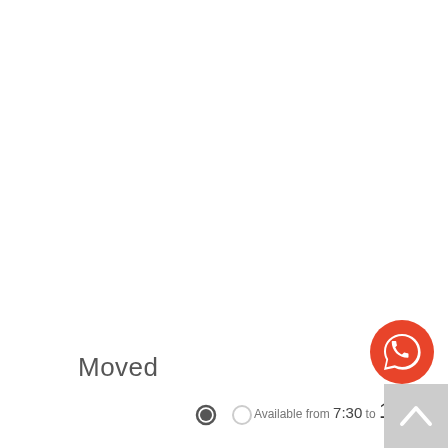Moved
[Figure (other): Two pagination dots - one filled dark circle and one empty light circle, indicating a carousel or slideshow position indicator]
[Figure (other): Orange/red circular WhatsApp chat button with white speech bubble icon]
Available from 7:30 to 15:00
[Figure (other): Gray rectangular scroll-to-top button with upward chevron arrow icon]